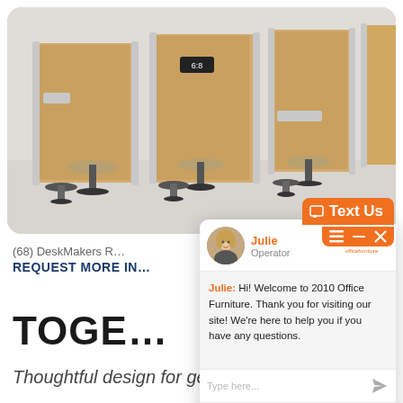[Figure (photo): Office privacy pods/booths with wooden panels, white dividers, small pedestal tables and stools — product photo of DeskMakers booths]
(68) DeskMakers R…
REQUEST MORE IN…
[Figure (screenshot): Live chat widget popup from 2010 Office Furniture showing operator Julie with greeting message: Hi! Welcome to 2010 Office Furniture. Thank you for visiting our site! We're here to help you if you have any questions. With a Text Us button in orange and a type here input field.]
TOGE…
Thoughtful design for getting together at